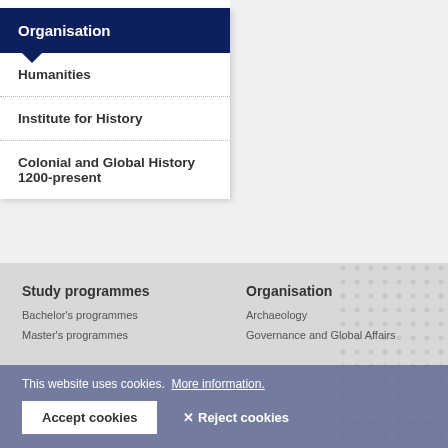Organisation
Humanities
Institute for History
Colonial and Global History 1200-present
Study programmes
Bachelor's programmes
Master's programmes
Organisation
Archaeology
Governance and Global Affairs
This website uses cookies. More information.
Accept cookies
✕ Reject cookies